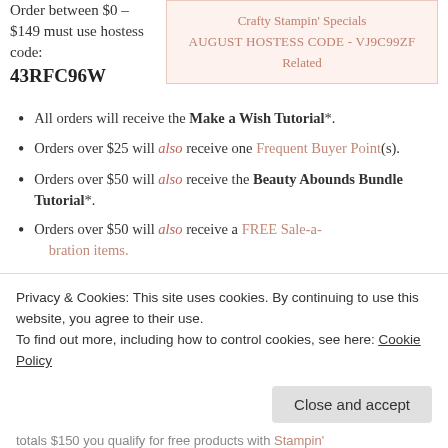Order between $0 – $149 must use hostess code: 43RFC96W
Crafty Stampin' Specials AUGUST HOSTESS CODE - VJ9C99ZF Related
All orders will receive the Make a Wish Tutorial*.
Orders over $25 will also receive one Frequent Buyer Point(s).
Orders over $50 will also receive the Beauty Abounds Bundle Tutorial*.
Orders over $50 will also receive a FREE Sale-a-bration items.
Privacy & Cookies: This site uses cookies. By continuing to use this website, you agree to their use. To find out more, including how to control cookies, see here: Cookie Policy
Close and accept
totals $150 you qualify for free products with Stampin'